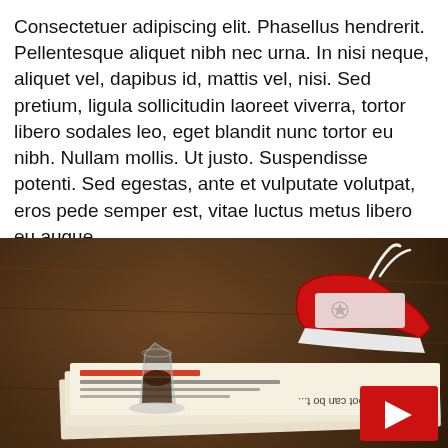Consectetuer adipiscing elit. Phasellus hendrerit. Pellentesque aliquet nibh nec urna. In nisi neque, aliquet vel, dapibus id, mattis vel, nisi. Sed pretium, ligula sollicitudin laoreet viverra, tortor libero sodales leo, eget blandit nunc tortor eu nibh. Nullam mollis. Ut justo. Suspendisse potenti. Sed egestas, ante et vulputate volutpat, eros pede semper est, vitae luctus metus libero eu augue.
[Figure (photo): A photo of a small glass of espresso, a red and white sneaker, and a newspaper on a wooden table. A red square with a white play triangle is in the bottom right.]